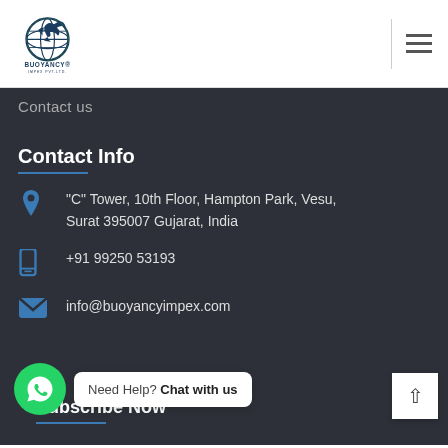[Figure (logo): Buoyancy Impex Pvt Ltd logo — eagle over globe, dark blue, with company name below]
Contact us
Contact Info
“C” Tower, 10th Floor, Hampton Park, Vesu, Surat 395007 Gujarat, India
+91 99250 53193
info@buoyancyimpex.com
Need Help? Chat with us
Subscribe Now